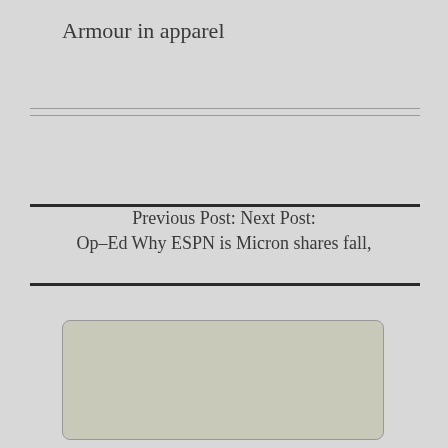Armour in apparel
Previous Post:  Next Post:
Op-Ed Why ESPN is  Micron shares fall,
[Figure (other): Rounded rectangle advertisement or content placeholder box with light beige-gray background]